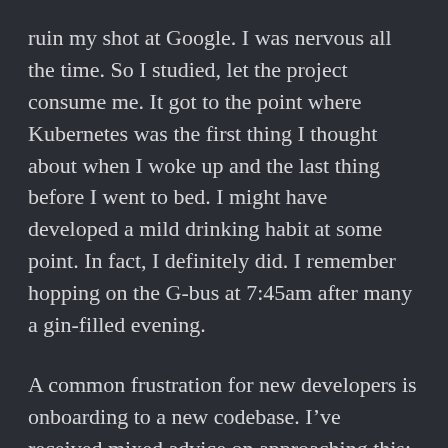ruin my shot at Google. I was nervous all the time. So I studied, let the project consume me. It got to the point where Kubernetes was the first thing I thought about when I woke up and the last thing before I went to bed. I might have developed a mild drinking habit at some point. In fact, I definitely did. I remember hopping on the G-bus at 7:45am after many a gin-filled evening.
A common frustration for new developers is onboarding to a new codebase. I've received mixed advice on approaching this: “Throw 0/0 somewhere and check out the stack trace” (!), “Start at main and work your way down” (please, point me in the direction of Kubernetes’ main). A wise mentor once told me the first place to look when confronted with a new codebase is the